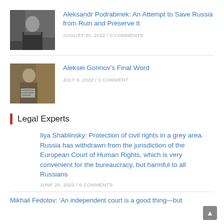[Figure (photo): Photo of a man in a dark coat standing outdoors on a city street]
Aleksandr Podrabinek: An Attempt to Save Russia from Ruin and Preserve It
AUGUST 30, 2022 / 0 COMMENTS
[Figure (photo): Photo of a man holding a sign, appearing to be in a detention or court setting]
Aleksei Gorinov’s Final Word
JULY 8, 2022 / 1 COMMENT
Legal Experts
Ilya Shablinsky: Protection of civil rights in a grey area. Russia has withdrawn from the jurisdiction of the European Court of Human Rights, which is very convenient for the bureaucracy, but harmful to all Russians
JUNE 29, 2022 / 0 COMMENTS
Mikhail Fedotov: ‘An independent court is a good thing—but